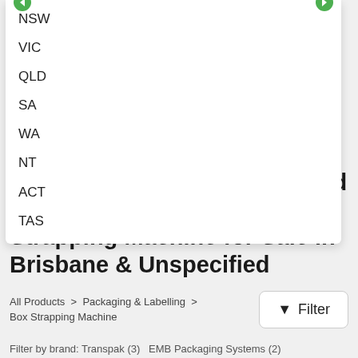NSW
VIC
QLD
SA
WA
NT
ACT
TAS
Find a Transpak & Unspecified & Fromm & Orgapack Box Strapping Machine for Sale in Brisbane & Unspecified
All Products  >  Packaging & Labelling  >  Box Strapping Machine
Filter
Filter by brand: Transpak (3)  EMB Packaging Systems (2)